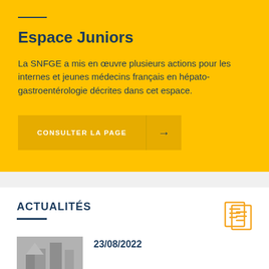Espace Juniors
La SNFGE a mis en œuvre plusieurs actions pour les internes et jeunes médecins français en hépato-gastroentérologie décrites dans cet espace.
CONSULTER LA PAGE →
ACTUALITÉS
23/08/2022